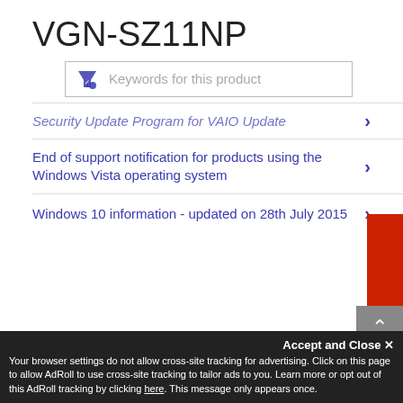VGN-SZ11NP
[Figure (screenshot): Search/filter input box with funnel icon and placeholder text 'Keywords for this product']
Security Update Program for VAIO Update
End of support notification for products using the Windows Vista operating system
Windows 10 information - updated on 28th July 2015
Sony Essentials now part of Sony Entertainment Network
Accept and Close ✕
Your browser settings do not allow cross-site tracking for advertising. Click on this page to allow AdRoll to use cross-site tracking to tailor ads to you. Learn more or opt out of this AdRoll tracking by clicking here. This message only appears once.